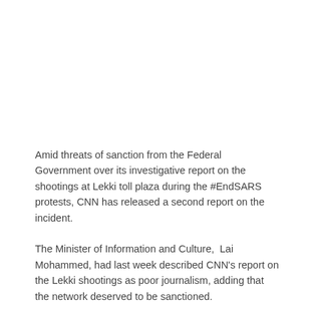Amid threats of sanction from the Federal Government over its investigative report on the shootings at Lekki toll plaza during the #EndSARS protests, CNN has released a second report on the incident.
The Minister of Information and Culture,  Lai Mohammed, had last week described CNN's report on the Lekki shootings as poor journalism, adding that the network deserved to be sanctioned.
Mohammed also followed up the threat with a letter addressed to the management of CNN in Atlanta.